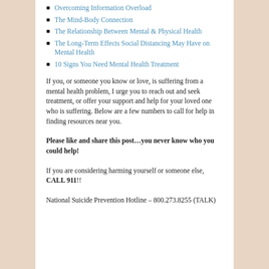Overcoming Information Overload
The Mind-Body Connection
The Relationship Between Mental & Physical Health
The Long-Term Effects Social Distancing May Have on Mental Health
10 Signs You Need Mental Health Treatment
If you, or someone you know or love, is suffering from a mental health problem, I urge you to reach out and seek treatment, or offer your support and help for your loved one who is suffering. Below are a few numbers to call for help in finding resources near you.
Please like and share this post…you never know who you could help!
If you are considering harming yourself or someone else, CALL 911!!
National Suicide Prevention Hotline – 800.273.8255 (TALK)